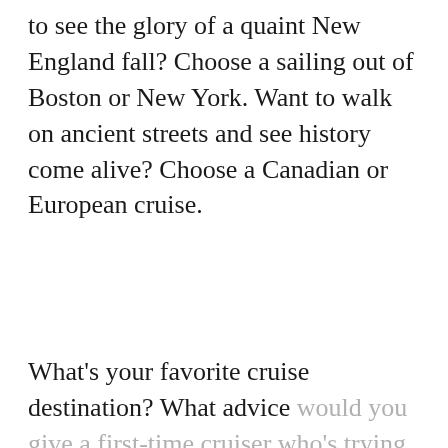to see the glory of a quaint New England fall? Choose a sailing out of Boston or New York. Want to walk on ancient streets and see history come alive? Choose a Canadian or European cruise.
What's your favorite cruise destination? What advice would you give a first-time cruiser who's trying to pick the perfect destination? We'd love to hear from you!